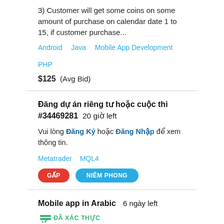3) Customer will get some coins on some amount of purchase on calendar date 1 to 15, if customer purchase...
Android   Java   Mobile App Development   PHP
$125  (Avg Bid)
Đăng dự án riêng tư hoặc cuộc thi #34469281  20 giờ left
Vui lòng Đăng Ký hoặc Đăng Nhập để xem thông tin.
Metatrader   MQL4
GẤP   NIÊM PHONG
Mobile app in Arabic  6 ngày left  ĐÃ XÁC THỰC
We need an app developer who can code and build an app similar to utlubly app, which you can find in the iTunes Store. The application should be very simple UI and Arabic